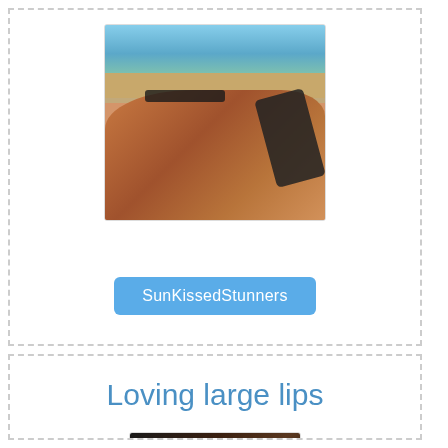[Figure (photo): Beach scene photo showing a tanned torso in a black bikini lying on the beach, with sea and other beachgoers in background]
SunKissedStunners
Loving large lips
[Figure (photo): Dark close-up photo partially visible at bottom of page]